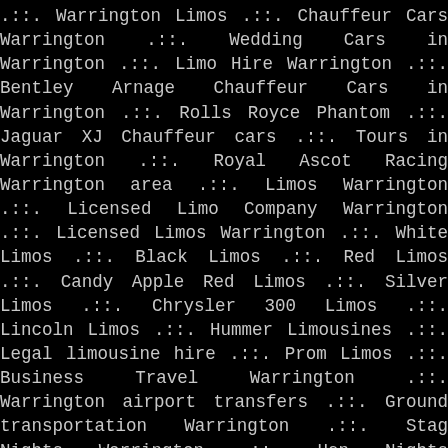.::. Warrington Limos .::. Chauffeur Cars Warrington .::. Wedding Cars in Warrington .::. Limo Hire Warrington .::. Bentley Arnage Chauffeur Cars in Warrington .::. Rolls Royce Phantom .::. Jaguar XJ Chauffeur cars .::. Tours in Warrington .::. Royal Ascot Racing Warrington area .::. Limos Warrington .::. Licensed Limo Company Warrington .::. Licensed Limos Warrington .::. White Limos .::. Black Limos .::. Red Limos .::. Candy Apple Red Limos .::. Silver Limos .::. Chrysler 300 Limos .::. Lincoln Limos .::. Hummer Limousines .::. Legal limousine hire .::. Prom Limos .::. Business Travel Warrington .::. Warrington airport transfers .::. Ground transportation Warrington .::. Stag Nights Warrington .::. Hen Nights Warrington .::